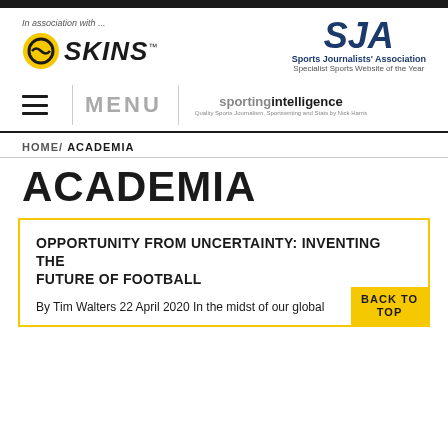[Figure (logo): SKINS logo with 'In association with...' text above]
[Figure (logo): SJA Sports Journalists' Association - Specialist Sports Website of the Year]
[Figure (logo): sportingintelligence website logo with hamburger menu and MENU text]
HOME/ ACADEMIA
ACADEMIA
OPPORTUNITY FROM UNCERTAINTY: INVENTING THE FUTURE OF FOOTBALL
By Tim Walters 22 April 2020 In the midst of our global